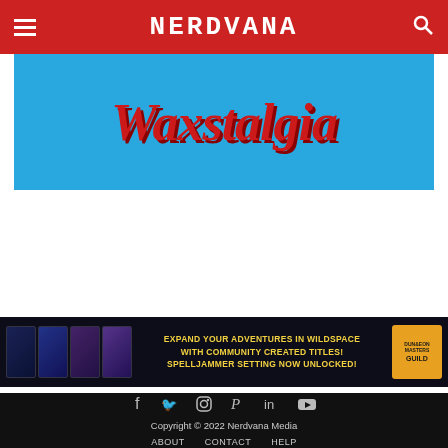NERDVANA
[Figure (illustration): Waxstalgia advertisement banner with blue background and stylized red italic logo text reading 'Waxstalgia']
[Figure (illustration): Spelljammer Dungeon Masters Guild advertisement banner: dark background with fantasy book covers on left, yellow text 'EXPAND YOUR ADVENTURES IN WILDSPACE WITH COMMUNITY CREATED TITLES! SPELLJAMMER SETTING NOW UNLOCKED!' and DMs Guild logo on right]
Copyright © 2022 Nerdvana Media
ABOUT   CONTACT   HELP